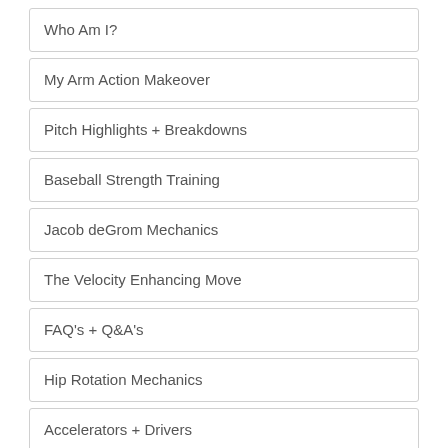Who Am I?
My Arm Action Makeover
Pitch Highlights + Breakdowns
Baseball Strength Training
Jacob deGrom Mechanics
The Velocity Enhancing Move
FAQ's + Q&A's
Hip Rotation Mechanics
Accelerators + Drivers
Forward Momentum + Acceleration
Landing Block Breakdown